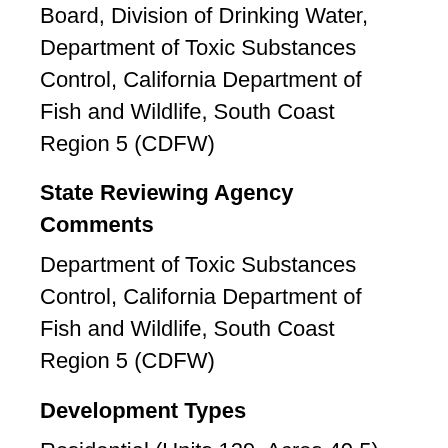State Water Resources Control Board, Division of Drinking Water, Department of Toxic Substances Control, California Department of Fish and Wildlife, South Coast Region 5 (CDFW)
State Reviewing Agency Comments
Department of Toxic Substances Control, California Department of Fish and Wildlife, South Coast Region 5 (CDFW)
Development Types
Residential (Units 129, Acres 40.5), Recreational (greenway, 40.2